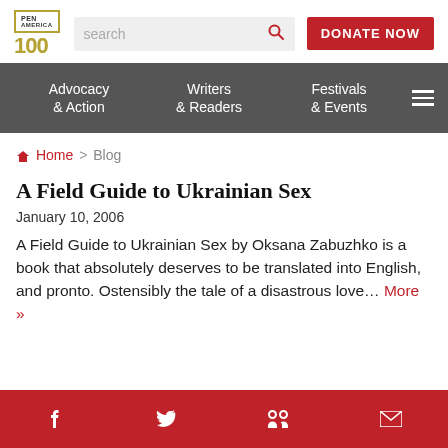[Figure (logo): PEN America 100 logo with golden border and text, search bar, and DONATE NOW red button]
Advocacy & Action | Writers & Readers | Festivals & Events | (hamburger menu)
Home > Blog
A Field Guide to Ukrainian Sex
January 10, 2006
A Field Guide to Ukrainian Sex by Oksana Zabuzhko is a book that absolutely deserves to be translated into English, and pronto. Ostensibly the tale of a disastrous love... More »
f  Twitter  in  Email (social icons)